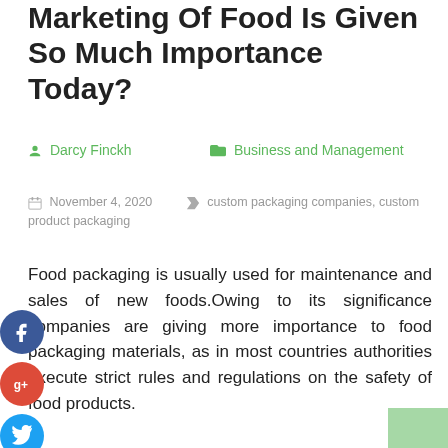Marketing Of Food Is Given So Much Importance Today?
Darcy Finckh   Business and Management
November 4, 2020   custom packaging companies, custom product packaging
Food packaging is usually used for maintenance and sales of new foods.Owing to its significance companies are giving more importance to food packaging materials, as in most countries authorities execute strict rules and regulations on the safety of food products.

Interior packaging can lead to a number of health hazards and may damage a business's reputation of Jppkg, thus food businesses are more worried about the packaging of their products. Food and beverage package design comes in a variety of forms and is supplied by many food